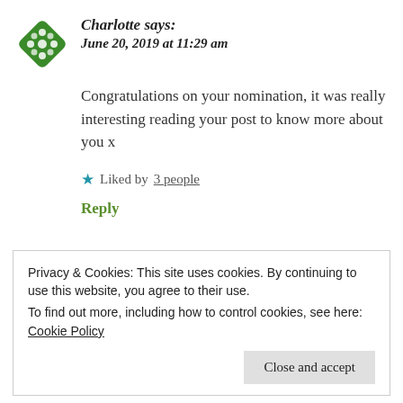[Figure (illustration): Green decorative avatar icon with cross/diamond pattern]
Charlotte says:
June 20, 2019 at 11:29 am
Congratulations on your nomination, it was really interesting reading your post to know more about you x
★ Liked by 3 people
Reply
Privacy & Cookies: This site uses cookies. By continuing to use this website, you agree to their use.
To find out more, including how to control cookies, see here: Cookie Policy
Close and accept